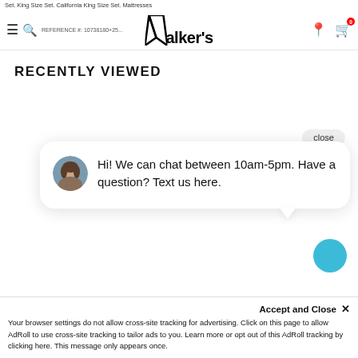Set. King Size Set. California King Size Set. Mattresses
REFERENCE #: 10738180+... Walker's [logo] [location icon] [cart icon]
RECENTLY VIEWED
close
Hi! We can chat between 10am-5pm. Have a question? Text us here.
Accept and Close ✕
Your browser settings do not allow cross-site tracking for advertising. Click on this page to allow AdRoll to use cross-site tracking to tailor ads to you. Learn more or opt out of this AdRoll tracking by clicking here. This message only appears once.